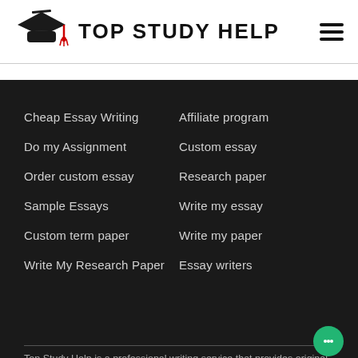[Figure (logo): Top Study Help logo with graduation cap icon and site name]
Cheap Essay Writing
Do my Assignment
Order custom essay
Sample Essays
Custom term paper
Write My Research Paper
Affiliate program
Custom essay
Research paper
Write my essay
Write my paper
Essay writers
Top Study Help is a professional writing service that provides original